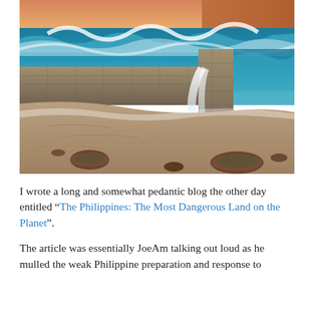[Figure (photo): Coastal landscape photograph showing ocean waves crashing over a stone sea wall/breakwater, with sandy beach in the foreground containing rocks and seaweed, and warm golden sky and reddish hills in the background.]
I wrote a long and somewhat pedantic blog the other day entitled “The Philippines: The Most Dangerous Land on the Planet”.
The article was essentially JoeAm talking out loud as he mulled the weak Philippine preparation and response to